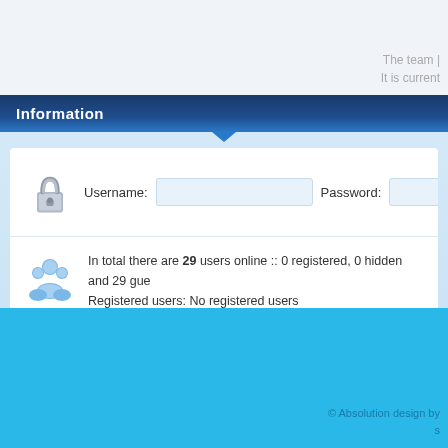The team | It is current
Information
Username: [input] Password: [input]
In total there are 29 users online :: 0 registered, 0 hidden and 29 gue...
Registered users: No registered users
Legend: Administrators, Global moderators
Total posts 8841 • Total topics 587 • Total images 5144 • Total membe...
© Absolution design by s